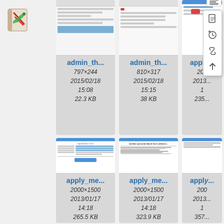[Figure (logo): LOAP wiki logo - red and green document icon]
[Figure (screenshot): admin_th... file card thumbnail, 797×244, 2015/02/18 15:08, 22.3 KB]
[Figure (screenshot): admin_th... file card thumbnail, 810×317, 2015/02/18 15:15, 38 KB]
[Figure (screenshot): apply_... file card thumbnail (partial), 200..., 2013..., 235...]
[Figure (screenshot): apply_me... file card thumbnail with application form screenshot, 2000×1500, 2013/01/17 14:18, 265.5 KB]
[Figure (screenshot): apply_me... file card thumbnail with personal data form screenshot, 2000×1500, 2013/01/17 14:18, 323.9 KB]
[Figure (screenshot): apply_... file card thumbnail (partial), 200..., 2013..., 357...]
[Figure (screenshot): Context menu panel with file, history, link, and upload icons]